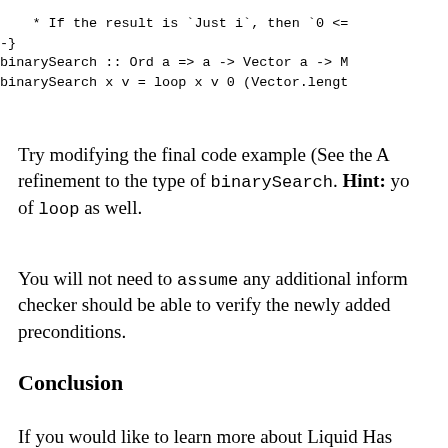* If the result is `Just i`, then `0 <=
-}binarySearch :: Ord a => a -> Vector a -> M
binarySearch x v = loop x v 0 (Vector.lengt
Try modifying the final code example (See the A refinement to the type of binarySearch. Hint: yo of loop as well.
You will not need to assume any additional inform checker should be able to verify the newly added preconditions.
Conclusion
If you would like to learn more about Liquid Has Liquid Haskell tutorial. This tutorial is all...